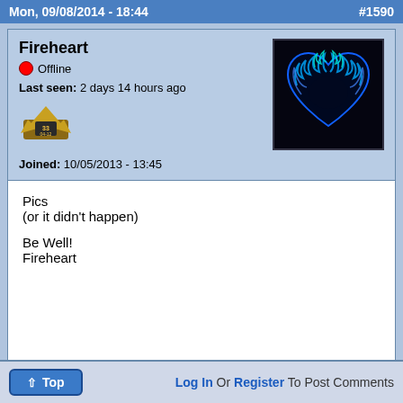Mon, 09/08/2014 - 18:44   #1590
Fireheart
Offline
Last seen: 2 days 14 hours ago
Joined: 10/05/2013 - 13:45
[Figure (photo): Avatar image of a blue flaming heart on black background]
Pics
(or it didn't happen)

Be Well!
Fireheart
Top   Log In Or Register To Post Comments